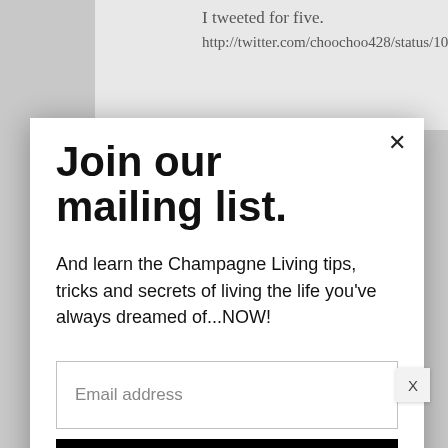I tweeted for five.
http://twitter.com/choochoo428/status/10…
Join our mailing list.
And learn the Champagne Living tips, tricks and secrets of living the life you've always dreamed of...NOW!
Email address
Subscribe